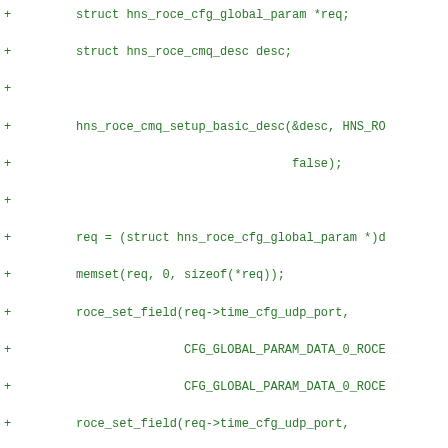[Figure (other): Source code diff snippet in green monospace font showing C code additions for hns_roce driver functions including cfg_global_param and query_pf_resource]